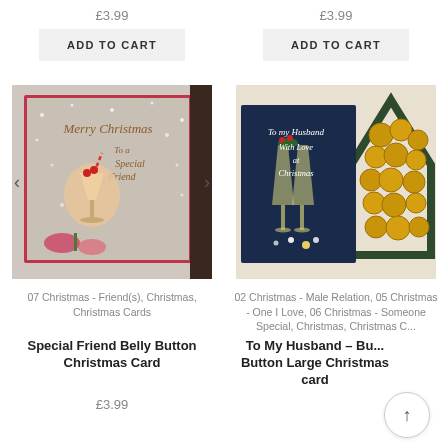£3.99
£3.99
ADD TO CART
ADD TO CART
[Figure (photo): Christmas card with cocktail glass illustration, 'Merry Christmas To a Special Friend' text on grey background]
[Figure (photo): Christmas card with champagne glasses illustration 'To my Husband With Love at Christmas' on dark blue background, gold wooden tree decoration behind]
07 Christmas - Friend(s), Christmas, Christmas Cards
02 Christmas - Male Relation, 05 Christmas - One I Love, 06 Christmas - Someone Special, Christmas, Christmas C...
Special Friend Belly Button Christmas Card
To My Husband – Bu... Button Large Christmas card
£3.99